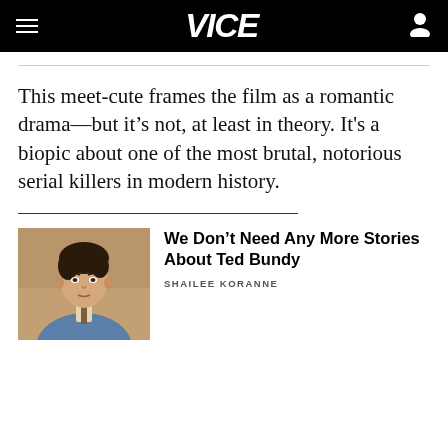VICE
This meet-cute frames the film as a romantic drama—but it's not, at least in theory. It's a biopic about one of the most brutal, notorious serial killers in modern history.
[Figure (photo): Portrait photo of a man with dark hair wearing a blue suit jacket, resembling a Ted Bundy era photo]
We Don't Need Any More Stories About Ted Bundy
SHAILEE KORANNE